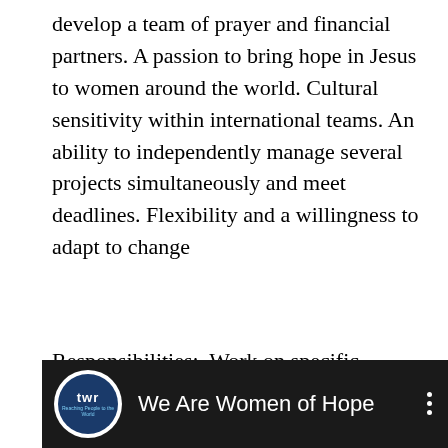develop a team of prayer and financial partners. A passion to bring hope in Jesus to women around the world. Cultural sensitivity within international teams. An ability to independently manage several projects simultaneously and meet deadlines. Flexibility and a willingness to adapt to change
Responsibilities:. Work on specific, current WOH projects in a supportive capacity. Assist WOH team in general responsibilities and various administrative tasks. Read, security-check, correct and distribute regional WOH reports. Write newsletters, ministry reports, articles, or other internal and external communications as needed. Desirable
[Figure (screenshot): A video thumbnail bar with TWR logo circle on dark background showing 'We Are Women of Hope' title with three-dot menu icon]